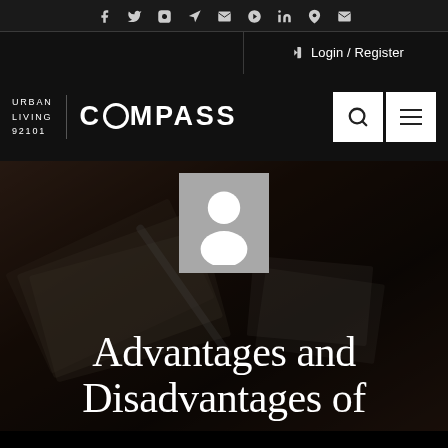Social navigation icons: f, twitter, flickr, foursquare, google, pinterest, linkedin, location, email
Login / Register
[Figure (logo): Urban Living 92101 | COMPASS logo with search and menu buttons]
[Figure (photo): Hero image with financial documents (money, papers, pen) in dark overlay with a grey avatar placeholder image in the center]
Advantages and Disadvantages of